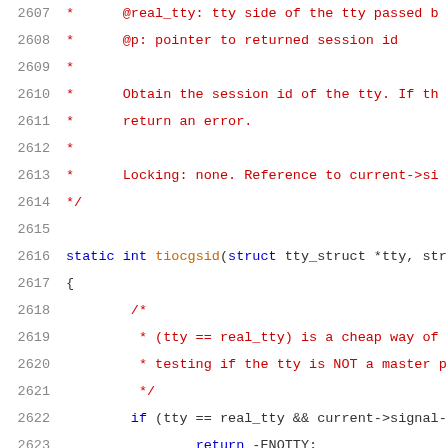[Figure (screenshot): Source code listing showing C kernel code for tiocgsid function with line numbers 2607-2627. Comments in red, keywords in blue, function/identifier text in dark orange/brown.]